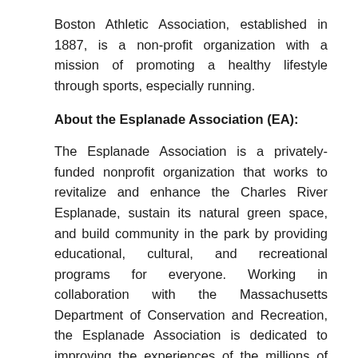Boston Athletic Association, established in 1887, is a non-profit organization with a mission of promoting a healthy lifestyle through sports, especially running.
About the Esplanade Association (EA):
The Esplanade Association is a privately-funded nonprofit organization that works to revitalize and enhance the Charles River Esplanade, sustain its natural green space, and build community in the park by providing educational, cultural, and recreational programs for everyone. Working in collaboration with the Massachusetts Department of Conservation and Recreation, the Esplanade Association is dedicated to improving the experiences of the millions of visitors who enjoy